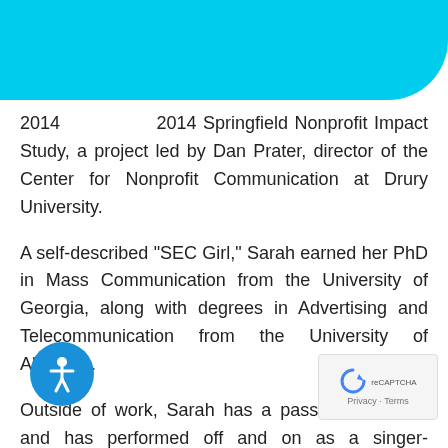CAMPAIGNIUM
2014 Springfield Nonprofit Impact Study, a project led by Dan Prater, director of the Center for Nonprofit Communication at Drury University.
A self-described “SEC Girl,” Sarah earned her PhD in Mass Communication from the University of Georgia, along with degrees in Advertising and Telecommunication from the University of Alabama.
Outside of work, Sarah has a passion for music and has performed off and on as a singer-songwriter for many years. In 2012 she recorded an album of 10 original songs and has appea…